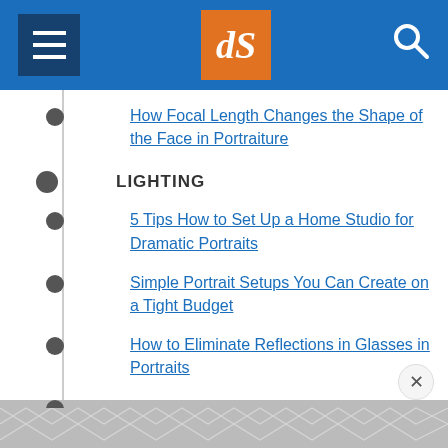[Figure (screenshot): Website navigation header with hamburger menu button on left, orange dPS logo in center, and search icon on right, all on blue background]
How Focal Length Changes the Shape of the Face in Portraiture
LIGHTING
5 Tips How to Set Up a Home Studio for Dramatic Portraits
Simple Portrait Setups You Can Create on a Tight Budget
How to Eliminate Reflections in Glasses in Portraits
Portrait Photography: How to Photograph
[Figure (other): Gray geometric hexagon/chevron pattern advertisement placeholder at bottom]